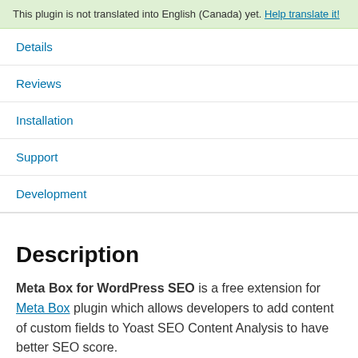This plugin is not translated into English (Canada) yet. Help translate it!
Details
Reviews
Installation
Support
Development
Description
Meta Box for WordPress SEO is a free extension for Meta Box plugin which allows developers to add content of custom fields to Yoast SEO Content Analysis to have better SEO score.
The plugin it optiona...